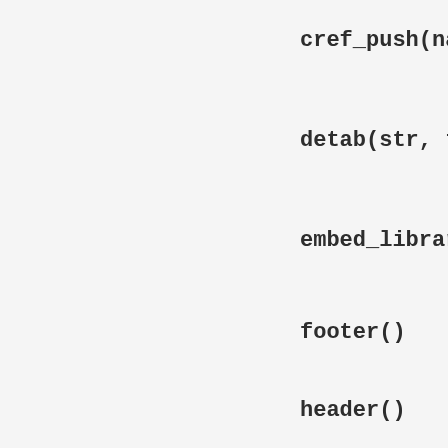cref_push(name)
detab(str, ts =
embed_library(s
footer()
header()
i_i_sym_list(na